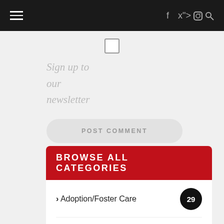Navigation bar with hamburger menu and social icons (Facebook, Twitter, Instagram, Search)
[Figure (other): Checkbox (unchecked) for newsletter sign-up]
Sign up to our newsletter
POST COMMENT
BROWSE ALL CATEGORIES
Adoption/Foster Care 29
Children 125
Church Activities 51